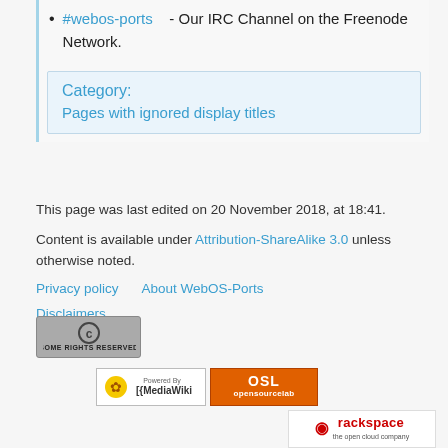#webos-ports - Our IRC Channel on the Freenode Network.
Category:
Pages with ignored display titles
This page was last edited on 20 November 2018, at 18:41.
Content is available under Attribution-ShareAlike 3.0 unless otherwise noted.
Privacy policy   About WebOS-Ports
Disclaimers
[Figure (logo): Creative Commons Some Rights Reserved badge, MediaWiki powered badge, OSL opensourcelab badge, Rackspace the open cloud company badge]